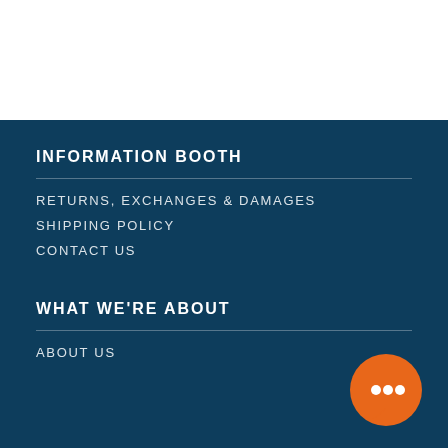[Figure (other): White blank section at top of page]
INFORMATION BOOTH
RETURNS, EXCHANGES & DAMAGES
SHIPPING POLICY
CONTACT US
WHAT WE'RE ABOUT
ABOUT US
[Figure (other): Orange circular chat bubble icon in bottom right corner]